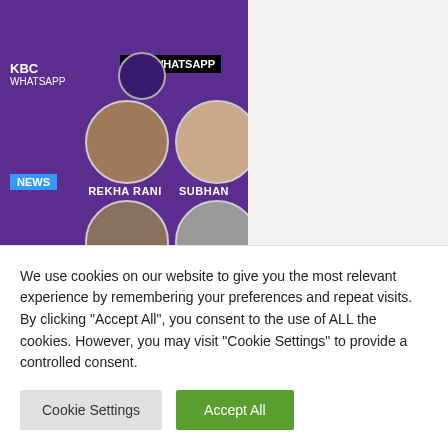[Figure (screenshot): KBC WhatsApp lottery winners graphic showing face photos of Rekha Rani, Subhan, Sachin, Uday Gin with NEWS badge on purple background]
Tips on how to To find KBC Lottery Winner
We use cookies on our website to give you the most relevant experience by remembering your preferences and repeat visits. By clicking "Accept All", you consent to the use of ALL the cookies. However, you may visit "Cookie Settings" to provide a controlled consent.